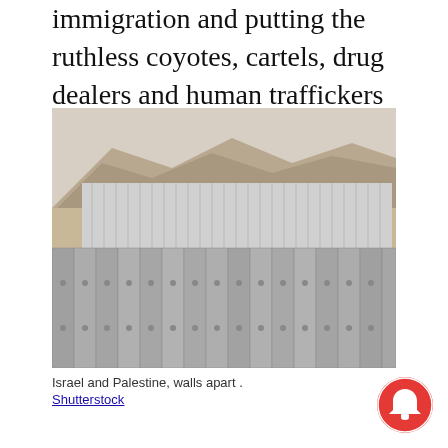immigration and putting the ruthless coyotes, cartels, drug dealers and human traffickers out of business."
[Figure (photo): Photograph of a large concrete border wall with vertical panels curving through a desert/rocky landscape. The wall has two tiers visible. Caption: Israel and Palestine, walls apart.]
Israel and Palestine, walls apart .
Shutterstock